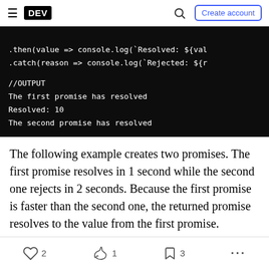DEV | Create account
[Figure (screenshot): Code block on dark background showing JavaScript promise .then and .catch calls, with OUTPUT section showing: The first promise has resolved, Resolved: 10, The second promise has resolved]
The following example creates two promises. The first promise resolves in 1 second while the second one rejects in 2 seconds. Because the first promise is faster than the second one, the returned promise resolves to the value from the first promise.
2 likes  1 unicorn  3 bookmarks  ...